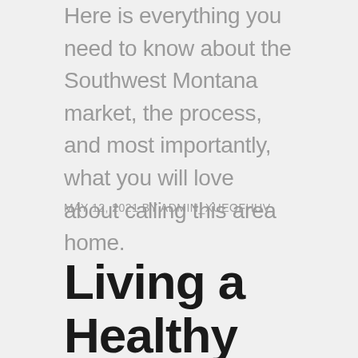Here is everything you need to know about the Southwest Montana market, the process, and most importantly, what you will love about calling this area home.
MAY 12, 2021 BY ADMIN_XUEOFHUV
Living a Healthy Lifestyle in Montana